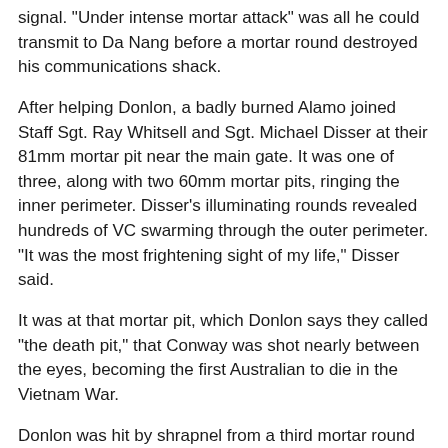signal. "Under intense mortar attack" was all he could transmit to Da Nang before a mortar round destroyed his communications shack.
After helping Donlon, a badly burned Alamo joined Staff Sgt. Ray Whitsell and Sgt. Michael Disser at their 81mm mortar pit near the main gate. It was one of three, along with two 60mm mortar pits, ringing the inner perimeter. Disser's illuminating rounds revealed hundreds of VC swarming through the outer perimeter. "It was the most frightening sight of my life," Disser said.
It was at that mortar pit, which Donlon says they called "the death pit," that Conway was shot nearly between the eyes, becoming the first Australian to die in the Vietnam War.
Donlon was hit by shrapnel from a third mortar round and lost all his equipment except for his AR-15 rifle. Bleeding from multiple wounds, he moved to Disser's position and killed three VC preparing to blow up the main gate. "By then, my boots had been blown off," Donlon said.